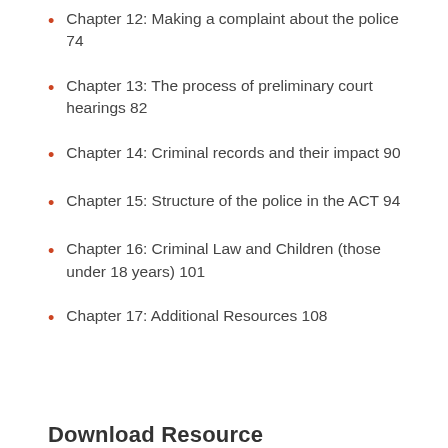Chapter 12: Making a complaint about the police 74
Chapter 13: The process of preliminary court hearings 82
Chapter 14: Criminal records and their impact 90
Chapter 15: Structure of the police in the ACT 94
Chapter 16: Criminal Law and Children (those under 18 years) 101
Chapter 17: Additional Resources 108
Download Resource